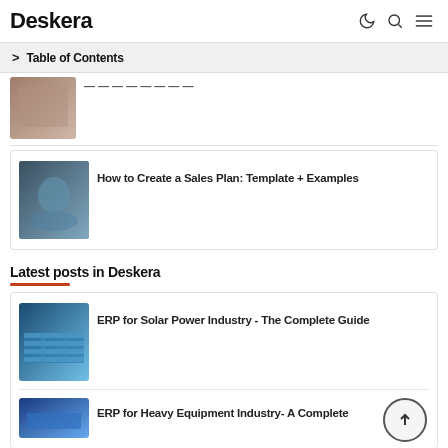Deskera
Table of Contents
[Figure (photo): Blurred thumbnail image - top card]
How to Create a Sales Plan: Template + Examples
[Figure (photo): Blurred thumbnail image - sales plan card]
Latest posts in Deskera
[Figure (photo): Solar power industry thumbnail image]
ERP for Solar Power Industry - The Complete Guide
[Figure (photo): Heavy equipment industry thumbnail image]
ERP for Heavy Equipment Industry- A Complete